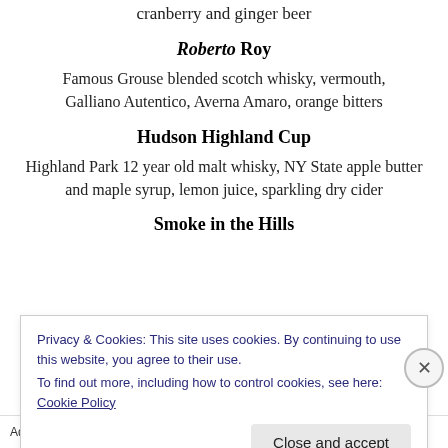cranberry and ginger beer
Roberto Roy
Famous Grouse blended scotch whisky, vermouth, Galliano Autentico, Averna Amaro, orange bitters
Hudson Highland Cup
Highland Park 12 year old malt whisky, NY State apple butter and maple syrup, lemon juice, sparkling dry cider
Smoke in the Hills
Privacy & Cookies: This site uses cookies. By continuing to use this website, you agree to their use.
To find out more, including how to control cookies, see here: Cookie Policy
Close and accept
Advertisements